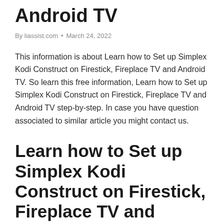Android TV
By liassist.com • March 24, 2022
This information is about Learn how to Set up Simplex Kodi Construct on Firestick, Fireplace TV and Android TV. So learn this free information, Learn how to Set up Simplex Kodi Construct on Firestick, Fireplace TV and Android TV step-by-step. In case you have question associated to similar article you might contact us.
Learn how to Set up Simplex Kodi Construct on Firestick, Fireplace TV and Android TV